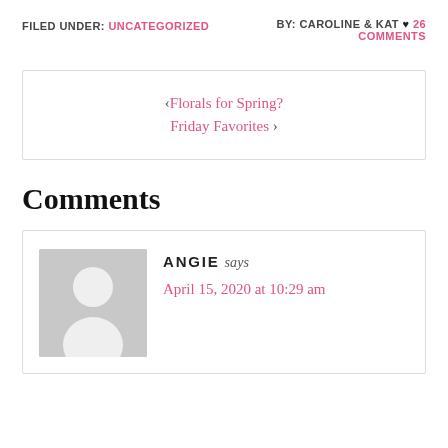FILED UNDER: UNCATEGORIZED   BY: CAROLINE & KAT ♥ 26 COMMENTS
‹ Florals for Spring?
Friday Favorites ›
Comments
ANGIE says
April 15, 2020 at 10:29 am